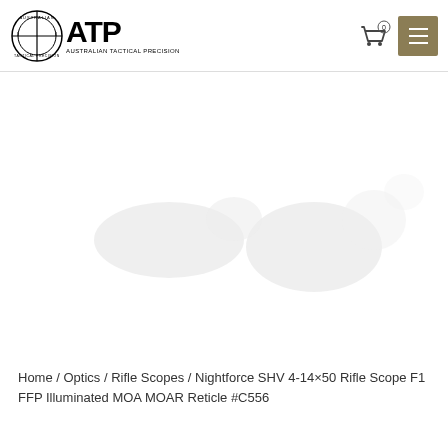[Figure (logo): Australian Tactical Precision (ATP) logo with circular crosshair emblem and bold ATP text]
[Figure (photo): Product image of Nightforce SHV 4-14x50 Rifle Scope - white/light background with faint silhouette of rifle scope]
Home / Optics / Rifle Scopes / Nightforce SHV 4-14×50 Rifle Scope F1 FFP Illuminated MOA MOAR Reticle #C556